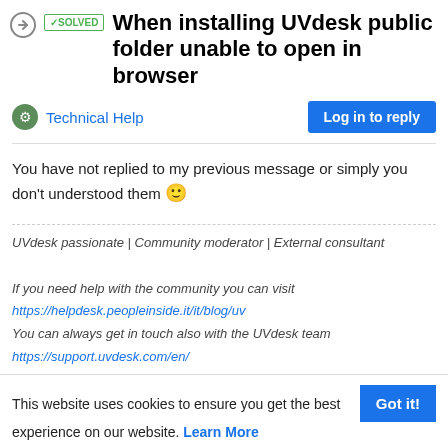✓SOLVED When installing UVdesk public folder unable to open in browser
Technical Help
You have not replied to my previous message or simply you don't understood them 🙂
UVdesk passionate | Community moderator | External consultant
If you need help with the community you can visit
https://helpdesk.peopleinside.it/it/blog/uv
You can always get in touch also with the UVdesk team
https://support.uvdesk.com/en/
qopiraju.p  22 Feb 2022, 04:58
@peopleinside remaining all things are fine y it's not going ...
This website uses cookies to ensure you get the best experience on our website. Learn More